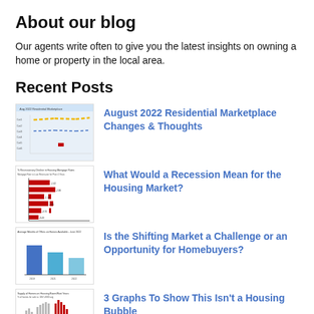About our blog
Our agents write often to give you the latest insights on owning a home or property in the local area.
Recent Posts
[Figure (other): Thumbnail chart showing August 2022 Residential Marketplace data with colored lines and table]
August 2022 Residential Marketplace Changes & Thoughts
[Figure (bar-chart): Bar chart with red bars showing recession and housing market data]
What Would a Recession Mean for the Housing Market?
[Figure (bar-chart): Bar chart with blue bars showing shifting market data]
Is the Shifting Market a Challenge or an Opportunity for Homebuyers?
[Figure (bar-chart): Bar chart with red and blue bars showing housing bubble data]
3 Graphs To Show This Isn't a Housing Bubble